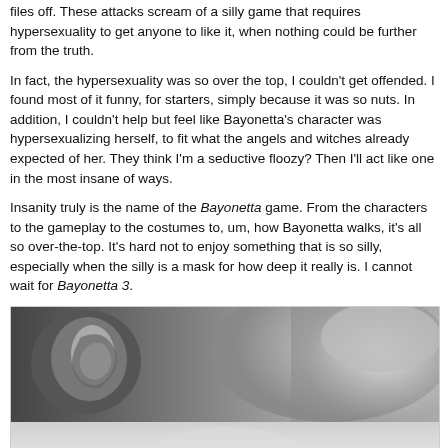files off. These attacks scream of a silly game that requires hypersexuality to get anyone to like it, when nothing could be further from the truth.
In fact, the hypersexuality was so over the top, I couldn't get offended. I found most of it funny, for starters, simply because it was so nuts. In addition, I couldn't help but feel like Bayonetta's character was hypersexualizing herself, to fit what the angels and witches already expected of her. They think I'm a seductive floozy? Then I'll act like one in the most insane of ways.
Insanity truly is the name of the Bayonetta game. From the characters to the gameplay to the costumes to, um, how Bayonetta walks, it's all so over-the-top. It's hard not to enjoy something that is so silly, especially when the silly is a mask for how deep it really is. I cannot wait for Bayonetta 3.
[Figure (photo): Black and white photograph showing a close-up of a person's ear and side of head in the upper portion, with a faded/lighter continuation of the image in the lower portion.]